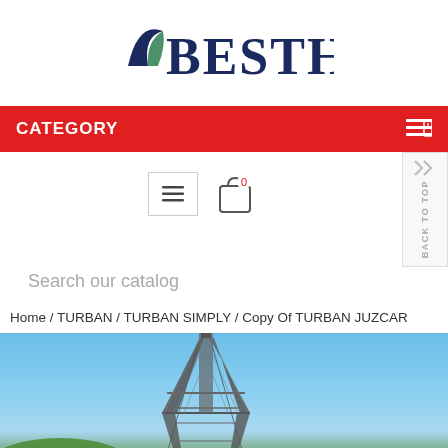[Figure (logo): BESTHY brand logo with a dark navy blue leaf/bird icon on the left of the text]
CATEGORY
[Figure (screenshot): Navigation bar with hamburger menu icon, shopping bag icon with red 0 badge, and BACK TO TOP sidebar button]
Search our catalog
Home / TURBAN / TURBAN SIMPLY / Copy Of TURBAN JUZCAR
[Figure (photo): Photo of the Eiffel Tower against a blue sky with some green foliage at the bottom left]